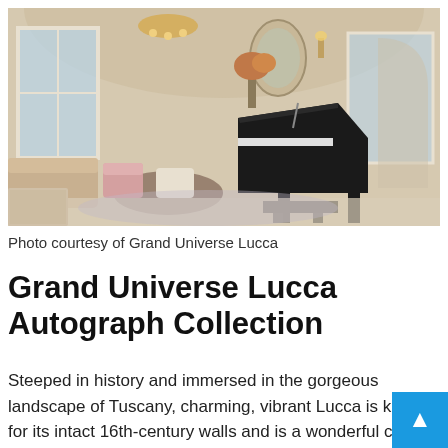[Figure (photo): Hotel lobby interior with a grand black piano, elegant chandelier, large windows, seating area with chairs and a coffee table, and warm neutral tones throughout.]
Photo courtesy of Grand Universe Lucca
Grand Universe Lucca Autograph Collection
Steeped in history and immersed in the gorgeous landscape of Tuscany, charming, vibrant Lucca is known for its intact 16th-century walls and is a wonderful choice for a countryside getaway. Stay at the boutique hotel Grand Universe for modern